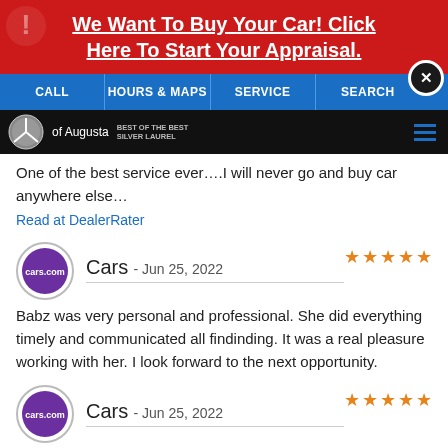We Want To Buy Your Car! Click Here To Start Your Appraisal.
CALL | HOURS & MAPS | SERVICE | SEARCH
[Figure (logo): Mercedes-Benz of Augusta dealer logo bar with 'Best of the Best Silver Laurel' text]
One of the best service ever….I will never go and buy car anywhere else…
Read at DealerRater
Cars - Jun 25, 2022 ★★★★★
Babz was very personal and professional. She did everything timely and communicated all findinding. It was a real pleasure working with her. I look forward to the next opportunity.
Cars - Jun 25, 2022 ★★★★★
My point of contact was Riley. He was informative,